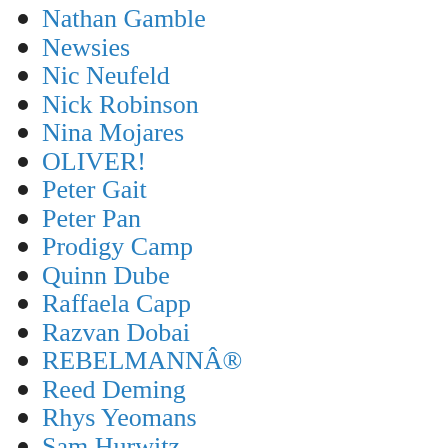Nathan Gamble
Newsies
Nic Neufeld
Nick Robinson
Nina Mojares
OLIVER!
Peter Gait
Peter Pan
Prodigy Camp
Quinn Dube
Raffaela Capp
Razvan Dobai
REBELMANNÂ®
Reed Deming
Rhys Yeomans
Sam Hurwitz